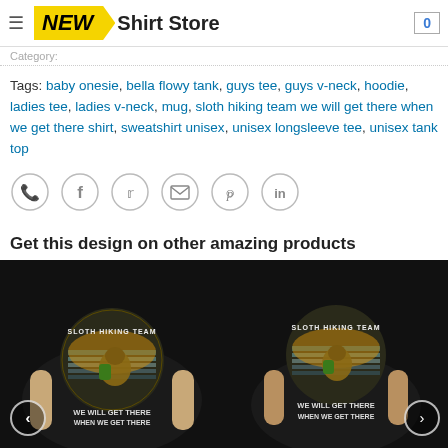NEW Shirt Store — 0
Category: ...
Tags: baby onesie, bella flowy tank, guys tee, guys v-neck, hoodie, ladies tee, ladies v-neck, mug, sloth hiking team we will get there when we get there shirt, sweatshirt unisex, unisex longsleeve tee, unisex tank top
[Figure (other): Social share icons: WhatsApp, Facebook, Twitter, Email, Pinterest, LinkedIn — circular bordered icons in a row]
Get this design on other amazing products
[Figure (photo): Two black t-shirts worn by male models, each featuring a 'Sloth Hiking Team — We Will Get There When We Get There' vintage sunset graphic design. Left image shows a wider view, right image shows a closer front view. Navigation arrows on left and right sides.]